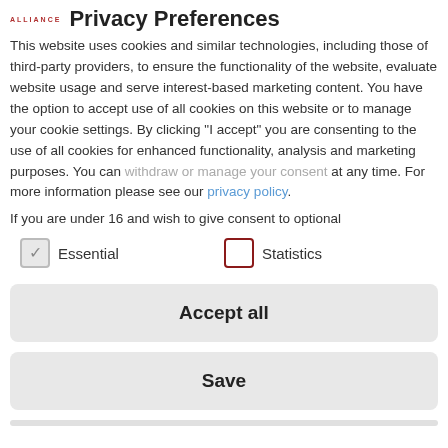ALLIANCE Privacy Preferences
This website uses cookies and similar technologies, including those of third-party providers, to ensure the functionality of the website, evaluate website usage and serve interest-based marketing content. You have the option to accept use of all cookies on this website or to manage your cookie settings. By clicking "I accept" you are consenting to the use of all cookies for enhanced functionality, analysis and marketing purposes. You can withdraw or manage your consent at any time. For more information please see our privacy policy.
If you are under 16 and wish to give consent to optional
Essential (checked)
Statistics (unchecked)
Accept all
Save